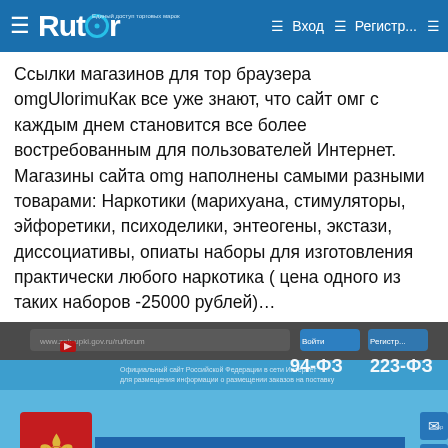Rutor — Вход — Регистр...
Ссылки магазинов для тор браузера omgUlorimuКак все уже знают, что сайт омг с каждым днем становится все более востребованным для пользователей Интернет. Магазины сайта omg наполнены самыми разными товарами: Наркотики (марихуана, стимуляторы, эйфоретики, психоделики, энтеогены, экстази, диссоциативы, опиаты наборы для изготовления практически любого наркотика ( цена одного из таких наборов -25000 рублей)…
[Figure (screenshot): Screenshot of the Russian government procurement portal (Portal Zakupok) showing the Russian Federation coat of arms logo, text '94-ФЗ', '223-ФЗ', 'Портал закупок', phone numbers '8 495 539-29-99' and '100-94-94']